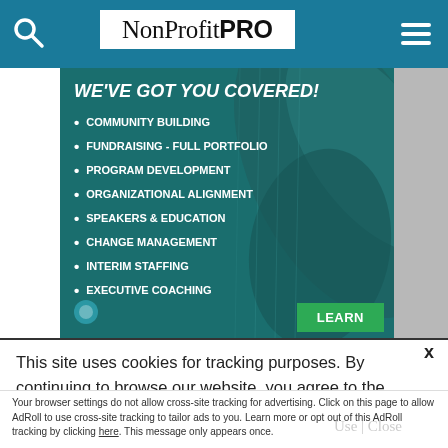NonProfit PRO
[Figure (screenshot): Advertisement banner with teal/green background showing 'WE'VE GOT YOU COVERED!' headline and bullet list of services including Community Building, Fundraising - Full Portfolio, Program Development, Organizational Alignment, Speakers & Education, Change Management, Interim Staffing, Executive Coaching, with a LEARN button]
This site uses cookies for tracking purposes. By continuing to browse our website, you agree to the storing of first- and third-party cookies on your device to enhance site navigation, analyze site usage, and assist in our marketing and
Accept and Close X
Your browser settings do not allow cross-site tracking for advertising. Click on this page to allow AdRoll to use cross-site tracking to tailor ads to you. Learn more or opt out of this AdRoll tracking by clicking here. This message only appears once.